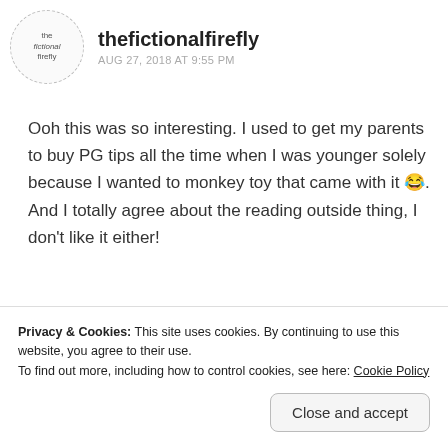[Figure (logo): Circular avatar logo for 'the fictional firefly' blog with dashed border]
thefictionalfirefly
AUG 27, 2018 AT 9:55 PM
Ooh this was so interesting. I used to get my parents to buy PG tips all the time when I was younger solely because I wanted to monkey toy that came with it 😂. And I totally agree about the reading outside thing, I don't like it either!
★ Liked by 1 person
Reply
Privacy & Cookies: This site uses cookies. By continuing to use this website, you agree to their use.
To find out more, including how to control cookies, see here: Cookie Policy
Close and accept